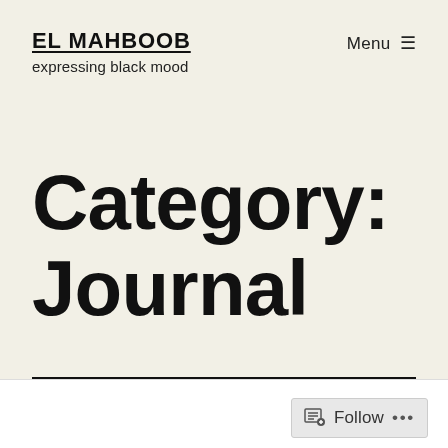EL MAHBOOB
expressing black mood
Menu ☰
Category: Journal